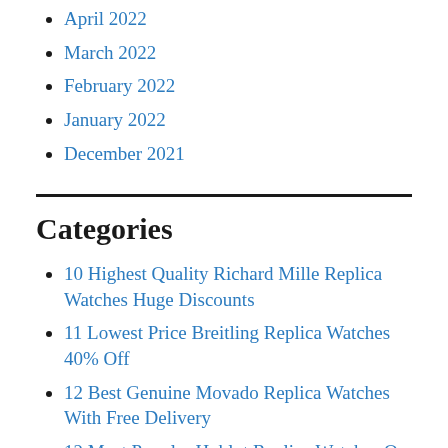April 2022
March 2022
February 2022
January 2022
December 2021
Categories
10 Highest Quality Richard Mille Replica Watches Huge Discounts
11 Lowest Price Breitling Replica Watches 40% Off
12 Best Genuine Movado Replica Watches With Free Delivery
12 Most Popular Hublot Replica Watches On